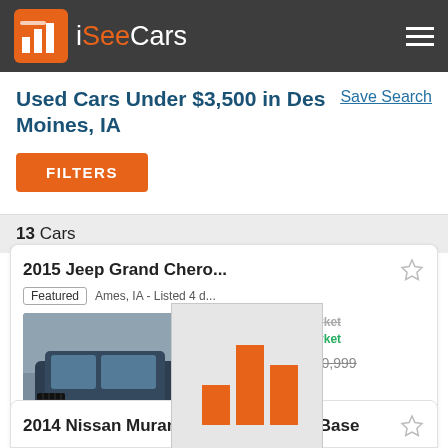iSeeCars
Used Cars Under $3,500 in Des Moines, IA
Save Search
FILTERS
13 Cars
2015 Jeep Grand Cherokee
Featured | Ames, IA - Listed 4 days ago
[Figure (bar-chart): Bar chart showing price comparison with 3 bars of varying heights in orange, overlaid as a popup on the car listing]
$9,217 Below market
$19,999 $20,999
87,724 mi
dealer rating
VIEW ON DEALER SITE
2014 Nissan Murano CrossCabriolet Base